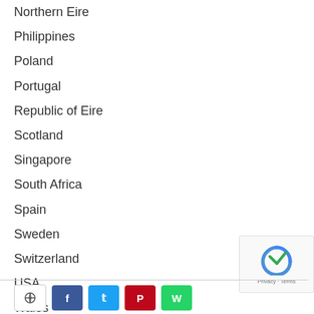Northern Eire
Philippines
Poland
Portugal
Republic of Eire
Scotland
Singapore
South Africa
Spain
Sweden
Switzerland
USA
Wales
Social share buttons: Facebook, Twitter, Pinterest, WhatsApp